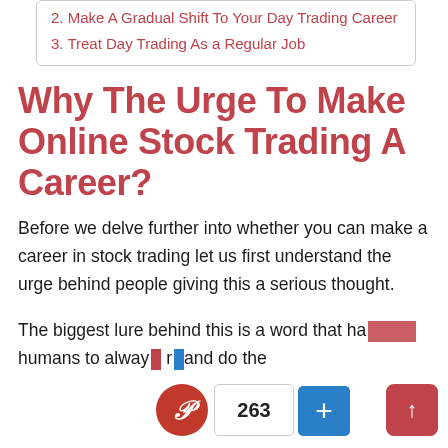2. Make A Gradual Shift To Your Day Trading Career
3. Treat Day Trading As a Regular Job
Why The Urge To Make Online Stock Trading A Career?
Before we delve further into whether you can make a career in stock trading let us first understand the urge behind people giving this a serious thought.
The biggest lure behind this is a word that ha... humans to alway... r...and do the